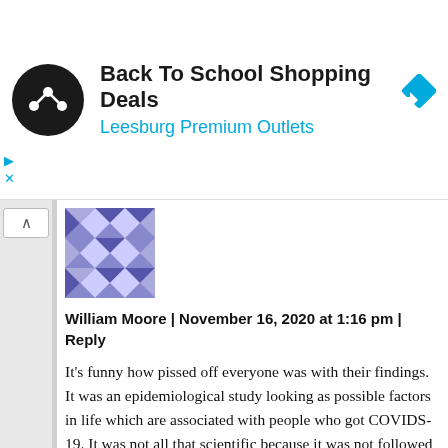[Figure (screenshot): Advertisement banner for Back To School Shopping Deals at Leesburg Premium Outlets, with a circular black logo with a share icon, text, and a blue diamond-shaped navigation icon]
William Moore | November 16, 2020 at 1:16 pm | Reply
It's funny how pissed off everyone was with their findings. It was an epidemiological study looking as possible factors in life which are associated with people who got COVIDS-19. It was not all that scientific because it was not followed up (yet) with more focused study. Just because a factor was associated with a problem doesn't mean it causes the